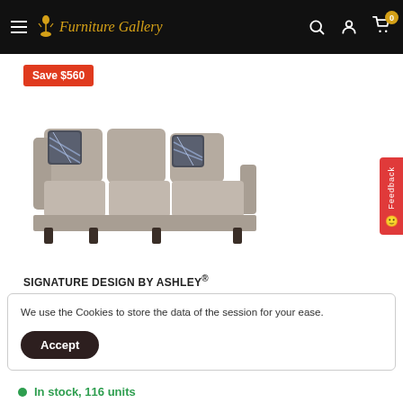Furniture Gallery — navigation header with hamburger menu, logo, search, account, and cart icons
Save $560
[Figure (photo): Beige/taupe sectional sofa with chaise lounge and decorative patterned throw pillows, on white background]
SIGNATURE DESIGN BY ASHLEY®
We use the Cookies to store the data of the session for your ease.
Accept
In stock, 116 units